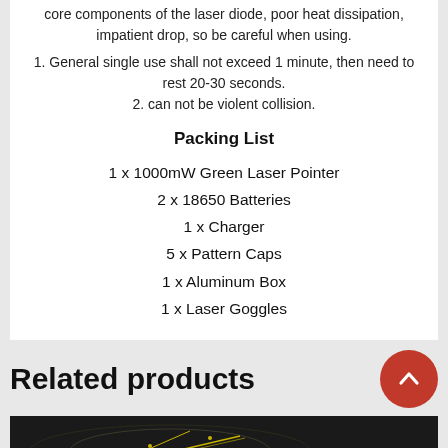core components of the laser diode, poor heat dissipation, impatient drop, so be careful when using.
1. General single use shall not exceed 1 minute, then need to rest 20-30 seconds.
2. can not be violent collision.
Packing List
1 x 1000mW Green Laser Pointer
2 x 18650 Batteries
1 x Charger
5 x Pattern Caps
1 x Aluminum Box
1 x Laser Goggles
Related products
[Figure (photo): Dark product image with sale badge]